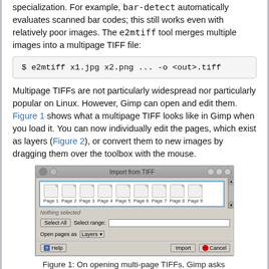specialization. For example, bar-detect automatically evaluates scanned bar codes; this still works even with relatively poor images. The e2mtiff tool merges multiple images into a multipage TIFF file:
Multipage TIFFs are not particularly widespread nor particularly popular on Linux. However, Gimp can open and edit them. Figure 1 shows what a multipage TIFF looks like in Gimp when you load it. You can now individually edit the pages, which exist as layers (Figure 2), or convert them to new images by dragging them over the toolbox with the mouse.
[Figure (screenshot): GIMP 'Import from TIFF' dialog showing 9 page thumbnails (Page 1 through Page 9), with options: Nothing selected, Select All, Select range, Open pages as Layers, and buttons Help, Import, Cancel.]
Figure 1: On opening multi-page TIFFs, Gimp asks you which pages to open as layers.